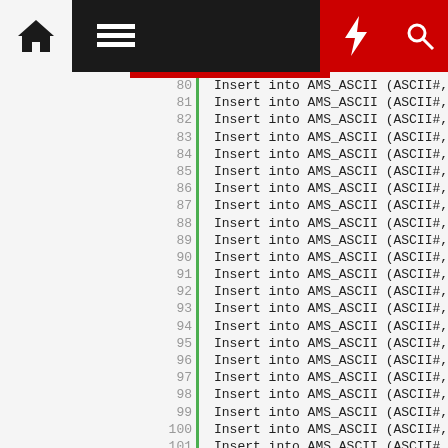Navigation bar with home, menu, lightning, and search icons
80  Insert into AMS_ASCII (ASCII#, UP
81  Insert into AMS_ASCII (ASCII#, UP
82  Insert into AMS_ASCII (ASCII#, UP
83  Insert into AMS_ASCII (ASCII#, UP
84  Insert into AMS_ASCII (ASCII#, UP
85  Insert into AMS_ASCII (ASCII#, UP
86  Insert into AMS_ASCII (ASCII#, UP
87  Insert into AMS_ASCII (ASCII#, UP
88  Insert into AMS_ASCII (ASCII#, UP
89  Insert into AMS_ASCII (ASCII#, UP
90  Insert into AMS_ASCII (ASCII#, UP
91  Insert into AMS_ASCII (ASCII#, UP
92  Insert into AMS_ASCII (ASCII#, UP
93  Insert into AMS_ASCII (ASCII#, UP
94  Insert into AMS_ASCII (ASCII#, UP
95  Insert into AMS_ASCII (ASCII#, UP
96  Insert into AMS_ASCII (ASCII#, UP
97  Insert into AMS_ASCII (ASCII#, UP
98  Insert into AMS_ASCII (ASCII#, UP
99  Insert into AMS_ASCII (ASCII#, UP
100 Insert into AMS_ASCII (ASCII#, UP
101 Insert into AMS_ASCII (ASCII#, UP
102 Insert into AMS_ASCII (ASCII#, UP